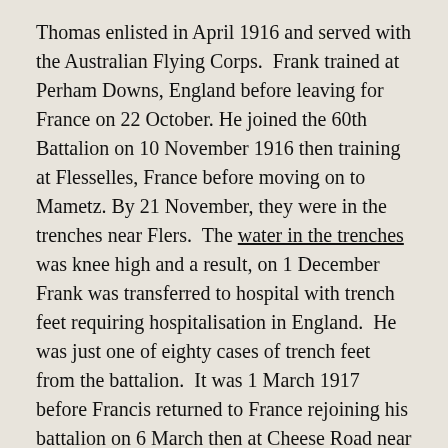Thomas enlisted in April 1916 and served with the Australian Flying Corps.  Frank trained at Perham Downs, England before leaving for France on 22 October. He joined the 60th Battalion on 10 November 1916 then training at Flesselles, France before moving on to Mametz. By 21 November, they were in the trenches near Flers.  The water in the trenches was knee high and a result, on 1 December Frank was transferred to hospital with trench feet requiring hospitalisation in England.  He was just one of eighty cases of trench feet from the battalion.  It was 1 March 1917 before Francis returned to France rejoining his battalion on 6 March then at Cheese Road near Flers, France, the day before they returned to the trenches.
In early April, the 60th Battalion moved north from